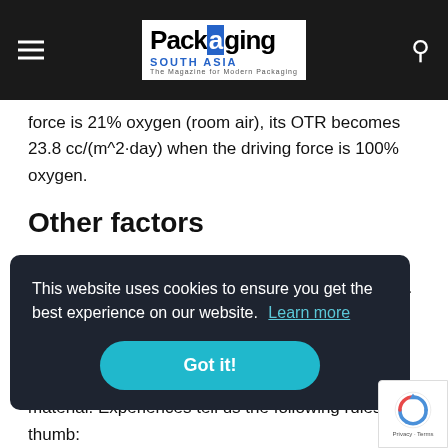Packaging South Asia — The Magazine for Modern Packaging
force is 21% oxygen (room air), its OTR becomes 23.8 cc/(m^2·day) when the driving force is 100% oxygen.
Other factors
There are other factors (Cooksey, K.) would influence the transmission rates for different gases. To name a few, the polymer structure, crystallinity, plasticizer, co-polymer, thickness of the film, are among those affect the barrier level
This website uses cookies to ensure you get the best experience on our website. Learn more
Got it!
material. Experiences tell us the following rules of thumb: